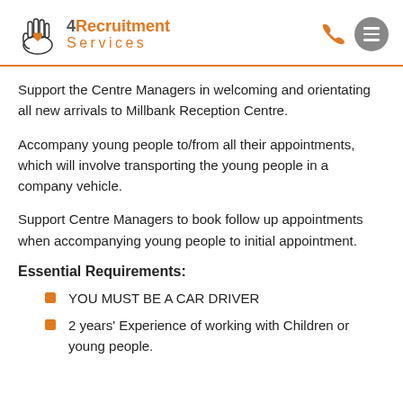4Recruitment Services
Support the Centre Managers in welcoming and orientating all new arrivals to Millbank Reception Centre.
Accompany young people to/from all their appointments, which will involve transporting the young people in a company vehicle.
Support Centre Managers to book follow up appointments when accompanying young people to initial appointment.
Essential Requirements:
YOU MUST BE A CAR DRIVER
2 years' Experience of working with Children or young people.